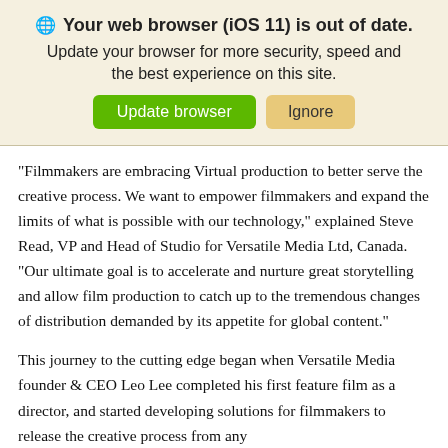[Figure (screenshot): Browser update warning banner with globe icon, bold title 'Your web browser (iOS 11) is out of date.', subtitle text, and two buttons: green 'Update browser' and tan 'Ignore']
“Filmmakers are embracing Virtual production to better serve the creative process. We want to empower filmmakers and expand the limits of what is possible with our technology,” explained Steve Read, VP and Head of Studio for Versatile Media Ltd, Canada. “Our ultimate goal is to accelerate and nurture great storytelling and allow film production to catch up to the tremendous changes of distribution demanded by its appetite for global content.”
This journey to the cutting edge began when Versatile Media founder & CEO Leo Lee completed his first feature film as a director, and started developing solutions for filmmakers to release the creative process from any